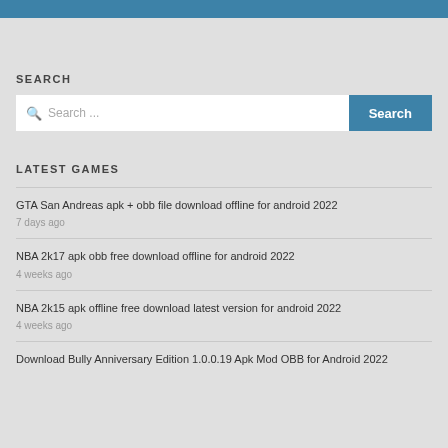SEARCH
Search ...
LATEST GAMES
GTA San Andreas apk + obb file download offline for android 2022
7 days ago
NBA 2k17 apk obb free download offline for android 2022
4 weeks ago
NBA 2k15 apk offline free download latest version for android 2022
4 weeks ago
Download Bully Anniversary Edition 1.0.0.19 Apk Mod OBB for Android 2022